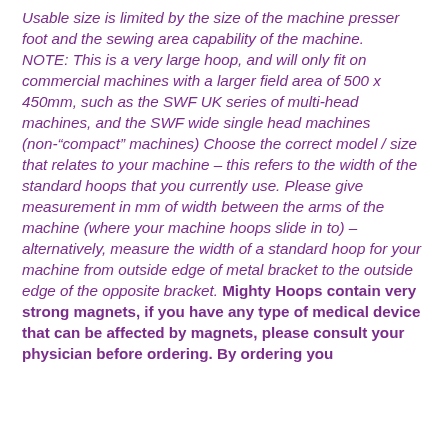Usable size is limited by the size of the machine presser foot and the sewing area capability of the machine. NOTE: This is a very large hoop, and will only fit on commercial machines with a larger field area of 500 x 450mm, such as the SWF UK series of multi-head machines, and the SWF wide single head machines (non-"compact" machines) Choose the correct model / size that relates to your machine – this refers to the width of the standard hoops that you currently use. Please give measurement in mm of width between the arms of the machine (where your machine hoops slide in to) – alternatively, measure the width of a standard hoop for your machine from outside edge of metal bracket to the outside edge of the opposite bracket. Mighty Hoops contain very strong magnets, if you have any type of medical device that can be affected by magnets, please consult your physician before ordering. By ordering you